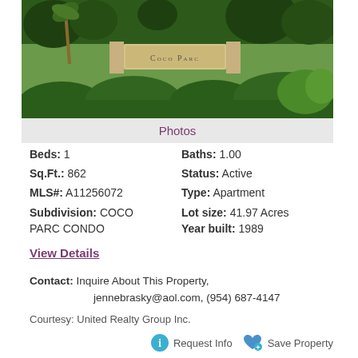[Figure (photo): Exterior photo of Coco Parc condominium community entrance with sign, palm trees, and manicured hedges]
Photos
Beds: 1   Baths: 1.00   Sq.Ft.: 862   Status: Active   MLS#: A11256072   Type: Apartment   Subdivision: COCO PARC CONDO   Lot size: 41.97 Acres   Year built: 1989
View Details
Contact: Inquire About This Property, jennebrasky@aol.com, (954) 687-4147
Courtesy: United Realty Group Inc.
Request Info   Save Property